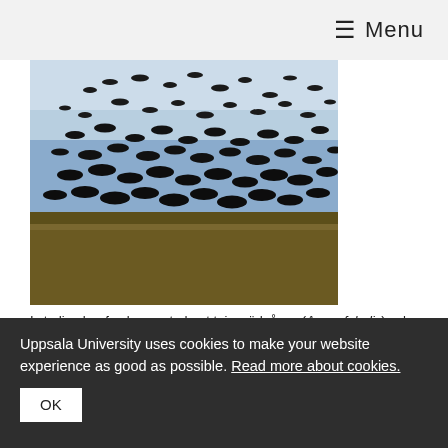≡ Menu
[Figure (photo): A large flock of dark geese in flight over a flat landscape with dry grass and a pale blue sky.]
I studien har forskarna studerat taigasädgåsen (Anser fabalis) och tundrasädgåsen (Anser serrirostris). De är så lika att det är svårt att veta vilken sorts gås du ser. Foto/bild: Matton
Forskare från Uppsala universitet har studerat hela arvsmassan för två närbesläktade gäss, taigasädgåsen och tundrasädgåsen . De kan visa på en komplex historia
Uppsala University uses cookies to make your website experience as good as possible. Read more about cookies.